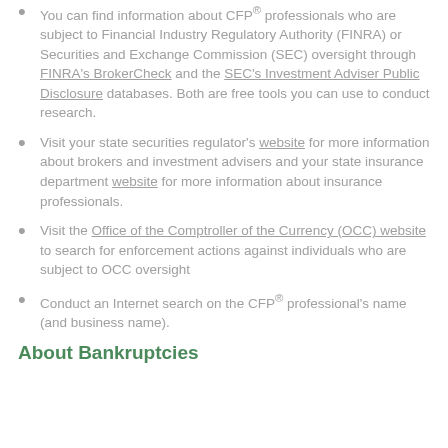You can find information about CFP® professionals who are subject to Financial Industry Regulatory Authority (FINRA) or Securities and Exchange Commission (SEC) oversight through FINRA's BrokerCheck and the SEC's Investment Adviser Public Disclosure databases. Both are free tools you can use to conduct research.
Visit your state securities regulator's website for more information about brokers and investment advisers and your state insurance department website for more information about insurance professionals.
Visit the Office of the Comptroller of the Currency (OCC) website to search for enforcement actions against individuals who are subject to OCC oversight
Conduct an Internet search on the CFP® professional's name (and business name).
About Bankruptcies